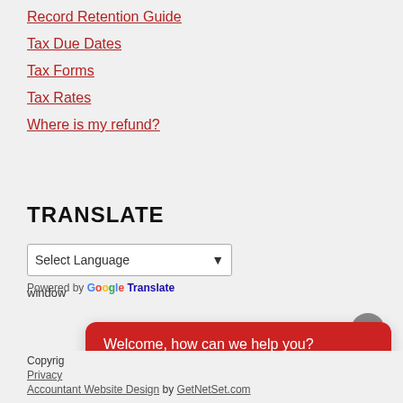Record Retention Guide
Tax Due Dates
Tax Forms
Tax Rates
Where is my refund?
TRANSLATE
Select Language
Powered by Google Translate
Welcome, how can we help you?
Write your message...
window
Copyright
Privacy
Accountant Website Design by GetNetSet.com